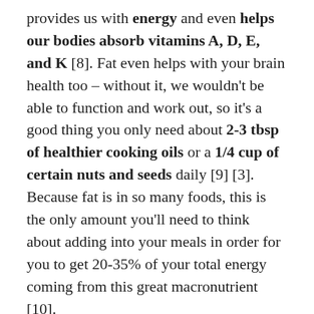provides us with energy and even helps our bodies absorb vitamins A, D, E, and K [8]. Fat even helps with your brain health too – without it, we wouldn't be able to function and work out, so it's a good thing you only need about 2-3 tbsp of healthier cooking oils or a 1/4 cup of certain nuts and seeds daily [9] [3]. Because fat is in so many foods, this is the only amount you'll need to think about adding into your meals in order for you to get 20-35% of your total energy coming from this great macronutrient [10].
THE TIMINGS:
More good news! Because the amount of added fat needed is so little, timings aren't really an issue. You could easily get this amount before dinnertime even